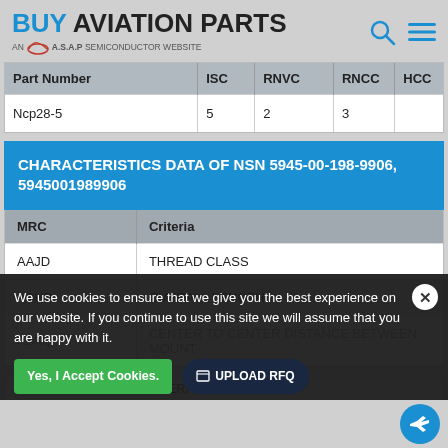BUY AVIATION PARTS — AN A.S.A.P SEMICONDUCTOR WEBSITE
| Part Number | ISC | RNVC | RNCC | HCC |
| --- | --- | --- | --- | --- |
| Ncp28-5 | 5 | 2 | 3 |  |
CHARACTERISTICS DATA OF NSN 5945-00-198-9906, 5945001989906
| MRC | Criteria |
| --- | --- |
| AAJD | THREAD CLASS |
| ABHP | OVERALL LENGTH |
| ABKQ | CENTER TO CENTER DISTANCE BETWEEN MOUNT |
| ABMK | OVERAL... |
We use cookies to ensure that we give you the best experience on our website. If you continue to use this site we will assume that you are happy with it.